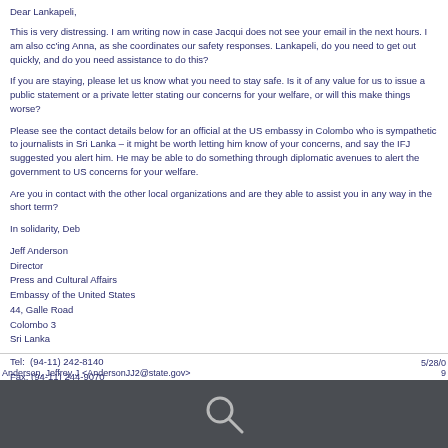Dear Lankapeli,
This is very distressing. I am writing now in case Jacqui does not see your email in the next hours. I am also cc'ing Anna, as she coordinates our safety responses. Lankapeli, do you need to get out quickly, and do you need assistance to do this?
If you are staying, please let us know what you need to stay safe. Is it of any value for us to issue a public statement or a private letter stating our concerns for your welfare, or will this make things worse?
Please see the contact details below for an official at the US embassy in Colombo who is sympathetic to journalists in Sri Lanka – it might be worth letting him know of your concerns, and say the IFJ suggested you alert him. He may be able to do something through diplomatic avenues to alert the government to US concerns for your welfare.
Are you in contact with the other local organizations and are they able to assist you in any way in the short term?
In solidarity, Deb
Jeff Anderson
Director
Press and Cultural Affairs
Embassy of the United States
44, Galle Road
Colombo 3
Sri Lanka
Tel:  (94-11) 242-8140
Fax: (94-11) 244-9070
Mob (94-77) 393-6872
email:  AndersonJJ2@state.gov
Anderson, Jeffrey J <AndersonJJ2@state.gov>   5/28/09